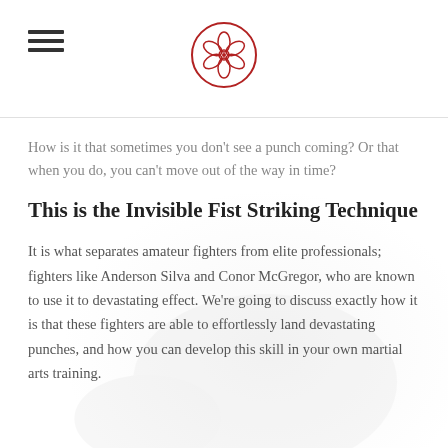How is it that sometimes you don't see a punch coming? Or that when you do, you can't move out of the way in time?
This is the Invisible Fist Striking Technique
It is what separates amateur fighters from elite professionals; fighters like Anderson Silva and Conor McGregor, who are known to use it to devastating effect. We're going to discuss exactly how it is that these fighters are able to effortlessly land devastating punches, and how you can develop this skill in your own martial arts training.